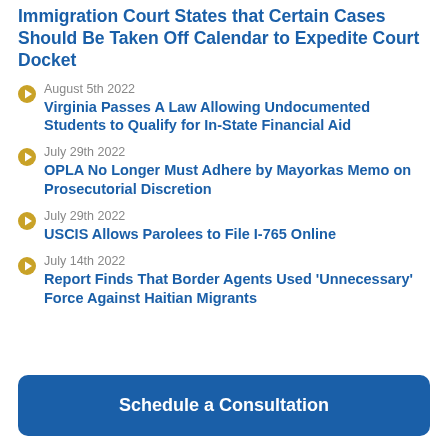Immigration Court States that Certain Cases Should Be Taken Off Calendar to Expedite Court Docket
August 5th 2022 — Virginia Passes A Law Allowing Undocumented Students to Qualify for In-State Financial Aid
July 29th 2022 — OPLA No Longer Must Adhere by Mayorkas Memo on Prosecutorial Discretion
July 29th 2022 — USCIS Allows Parolees to File I-765 Online
July 14th 2022 — Report Finds That Border Agents Used 'Unnecessary' Force Against Haitian Migrants
Schedule a Consultation